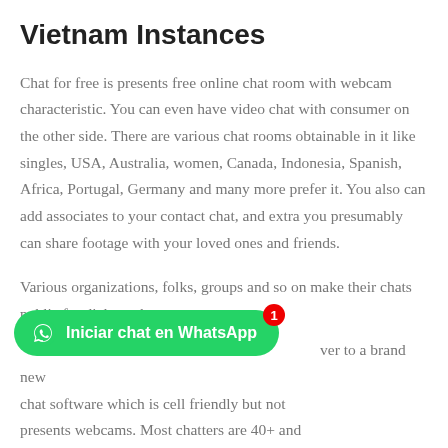Vietnam Instances
Chat for free is presents free online chat room with webcam characteristic. You can even have video chat with consumer on the other side. There are various chat rooms obtainable in it like singles, USA, Australia, women, Canada, Indonesia, Spanish, Africa, Portugal, Germany and many more prefer it. You also can add associates to your contact chat, and extra you presumably can share footage with your loved ones and friends.
Various organizations, folks, groups and so on make their chats public for dialog sake. [WhatsApp button: Iniciar chat en WhatsApp] ver to a brand new chat software which is cell friendly but not presents webcams. Most chatters are 40+ and the conversation about 75 chatters at a...